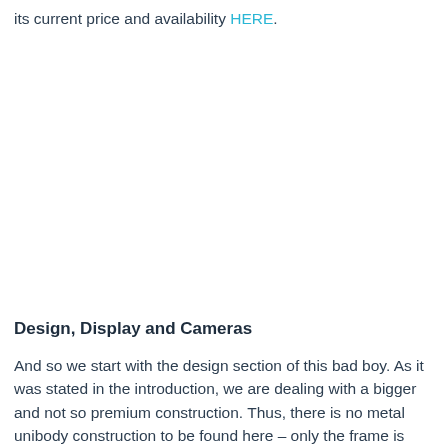its current price and availability HERE.
Design, Display and Cameras
And so we start with the design section of this bad boy. As it was stated in the introduction, we are dealing with a bigger and not so premium construction. Thus, there is no metal unibody construction to be found here – only the frame is